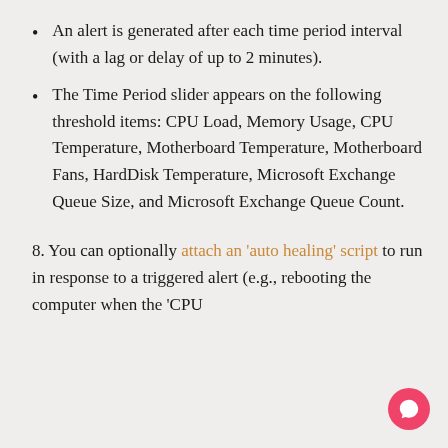An alert is generated after each time period interval (with a lag or delay of up to 2 minutes).
The Time Period slider appears on the following threshold items: CPU Load, Memory Usage, CPU Temperature, Motherboard Temperature, Motherboard Fans, HardDisk Temperature, Microsoft Exchange Queue Size, and Microsoft Exchange Queue Count.
8. You can optionally attach an 'auto healing' script to run in response to a triggered alert (e.g., rebooting the computer when the 'CPU